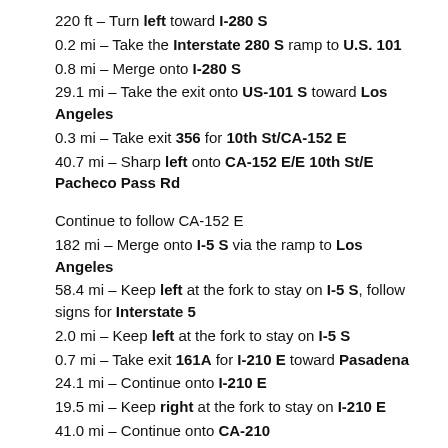220 ft – Turn left toward I-280 S
0.2 mi – Take the Interstate 280 S ramp to U.S. 101
0.8 mi – Merge onto I-280 S
29.1 mi – Take the exit onto US-101 S toward Los Angeles
0.3 mi – Take exit 356 for 10th St/CA-152 E
40.7 mi – Sharp left onto CA-152 E/E 10th St/E Pacheco Pass Rd
Continue to follow CA-152 E
182 mi – Merge onto I-5 S via the ramp to Los Angeles
58.4 mi – Keep left at the fork to stay on I-5 S, follow signs for Interstate 5
2.0 mi – Keep left at the fork to stay on I-5 S
0.7 mi – Take exit 161A for I-210 E toward Pasadena
24.1 mi – Continue onto I-210 E
19.5 mi – Keep right at the fork to stay on I-210 E
41.0 mi – Continue onto CA-210